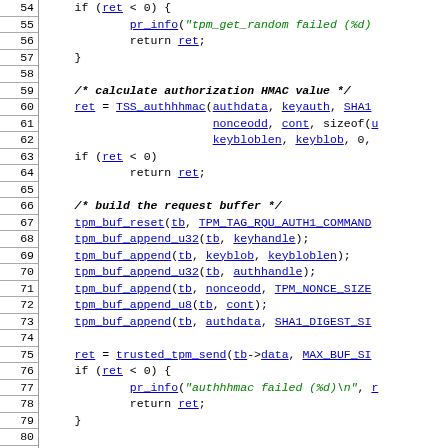[Figure (screenshot): Source code listing in C with line numbers 54-83, showing TPM (Trusted Platform Module) authentication code including functions like TSS_authhhmac, tpm_buf_reset, tpm_buf_append, trusted_tpm_send, TSS_checkhmac1, and pr_info calls with blue hyperlinked identifiers and green string literals.]